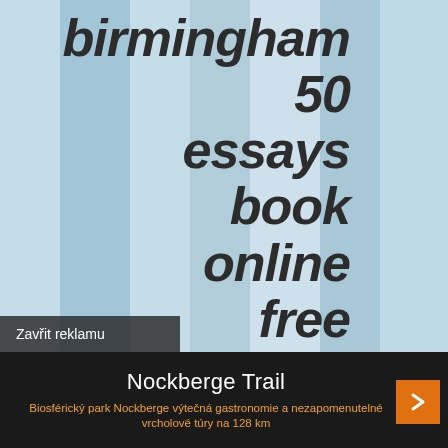[Figure (illustration): Light blue striped background with vertical alternating light/dark blue stripes]
birmingham 50 essays book online free 50 essays book table of contents
Zavřit reklamu
Nockberge Trail
Biosférický park Nockberge výtečná gastronomie a nezapomenutelné vrcholové túry na 128 km